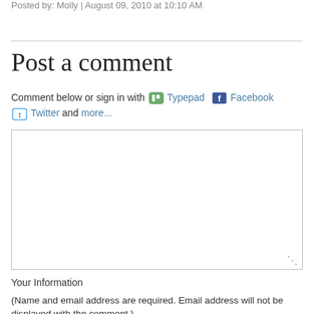Posted by: Molly | August 09, 2010 at 10:10 AM
Post a comment
Comment below or sign in with Typepad Facebook Twitter and more...
[Figure (other): Comment text area input box]
Your Information
(Name and email address are required. Email address will not be displayed with the comment.)